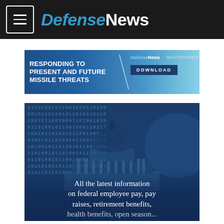Defense News
[Figure (infographic): Advertisement banner: RESPONDING TO PRESENT AND FUTURE MISSILE THREATS — DefenseNews WHITEPAPER DOWNLOAD]
[Figure (photo): Hero image of US Capitol dome with binary code overlay and text: All the latest information on federal employee pay, pay raises, retirement benefits, health benefits, open season...]